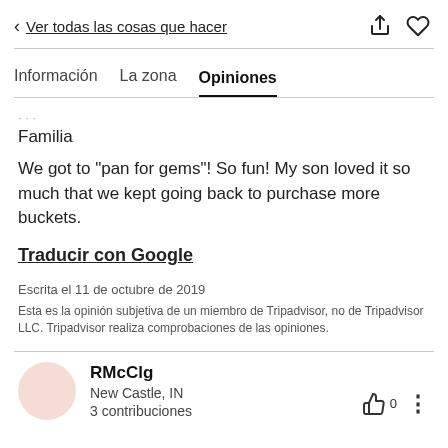< Ver todas las cosas que hacer
Información   La zona   Opiniones
Familia
We got to "pan for gems"! So fun! My son loved it so much that we kept going back to purchase more buckets.
Traducir con Google
Escrita el 11 de octubre de 2019
Esta es la opinión subjetiva de un miembro de Tripadvisor, no de Tripadvisor LLC. Tripadvisor realiza comprobaciones de las opiniones.
RMcClg
New Castle, IN
3 contribuciones